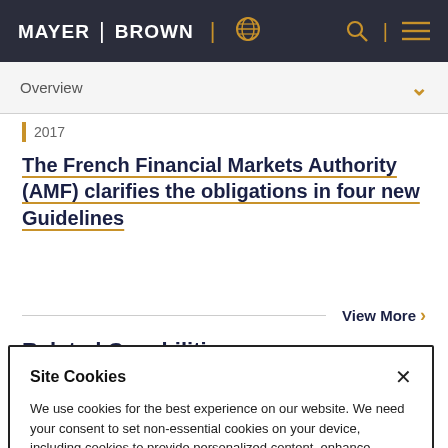MAYER | BROWN
Overview
2017
The French Financial Markets Authority (AMF) clarifies the obligations in four new Guidelines
View More
Related Capabilities
Site Cookies
We use cookies for the best experience on our website. We need your consent to set non-essential cookies on your device, including cookies to provide personalized content, enhance functionality and analyze traffic with our analytics partner. Please